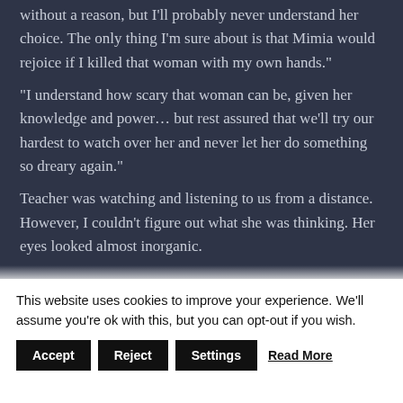without a reason, but I'll probably never understand her choice. The only thing I'm sure about is that Mimia would rejoice if I killed that woman with my own hands."
"I understand how scary that woman can be, given her knowledge and power… but rest assured that we'll try our hardest to watch over her and never let her do something so dreary again."

Teacher was watching and listening to us from a distance. However, I couldn't figure out what she was thinking. Her eyes looked almost inorganic.
This website uses cookies to improve your experience. We'll assume you're ok with this, but you can opt-out if you wish.